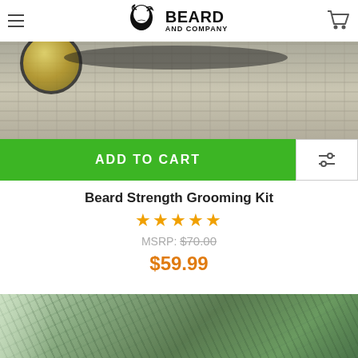Beard and Company
[Figure (photo): Product photo showing a jar of beard oil on a wooden surface]
ADD TO CART
Beard Strength Grooming Kit
★★★★★
MSRP: $70.00
$59.99
[Figure (photo): Product photo showing green grooming kit contents]